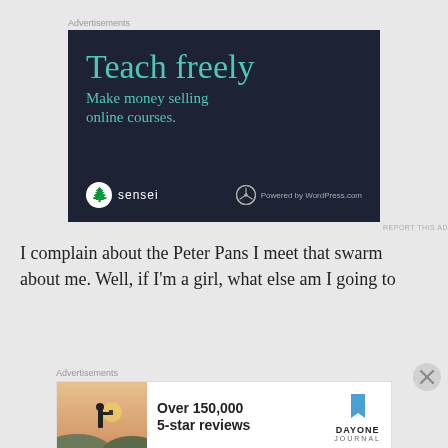Advertisements
[Figure (illustration): Dark navy advertisement banner for Sensei plugin. Large teal serif text reads 'Teach freely'. Below in teal: 'Make money selling online courses.' Bottom row shows Sensei logo (tree icon with white circle) on the left and 'Powered by WordPress.com' on the right.]
REPORT THIS AD
I complain about the Peter Pans I meet that swarm about me. Well, if I'm a girl, what else am I going to
Advertisements
[Figure (photo): Light-colored advertisement for Day One Journal app. Left side shows a photo of a person with camera at sunset. Center text: 'Over 150,000 5-star reviews'. Right side shows Day One Journal logo — a blue bookmark icon above text 'DAYONE JOURNAL'.]
REPORT THIS AD